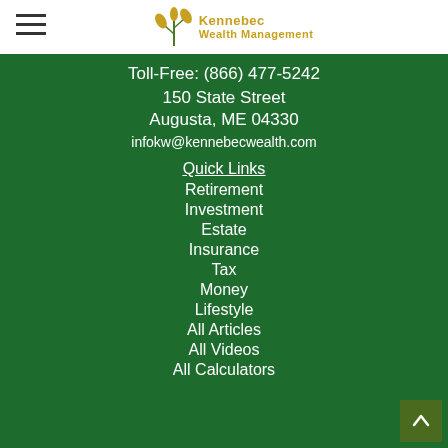[Figure (logo): Kennebec Wealth Management logo with wheat/corn icon and golden text]
Toll-Free: (866) 477-5242
150 State Street
Augusta, ME 04330
infokw@kennebecwealth.com
Quick Links
Retirement
Investment
Estate
Insurance
Tax
Money
Lifestyle
All Articles
All Videos
All Calculators